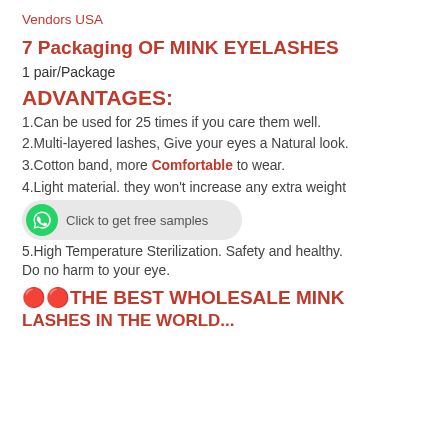Vendors USA
7 Packaging OF MINK EYELASHES
1 pair/Package
ADVANTAGES:
1.Can be used for 25 times if you care them well.
2.Multi-layered lashes, Give your eyes a Natural look.
3.Cotton band, more Comfortable to wear.
4.Light material. they won't increase any extra weight
[Figure (infographic): WhatsApp button with text 'Click to get free samples']
5.High Temperature Sterilization. Safety and healthy. Do no harm to your eye.
🔴🔴THE BEST WHOLESALE MINK LASHES IN THE WORLD...